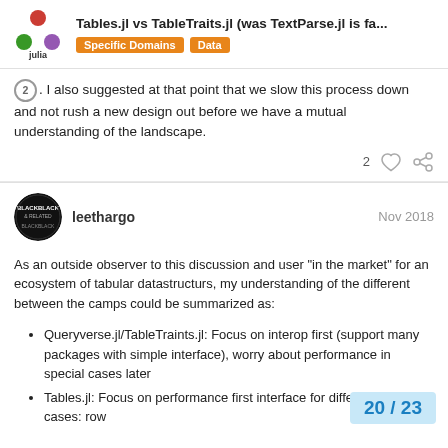Tables.jl vs TableTraits.jl (was TextParse.jl is fa... | Specific Domains | Data
2. I also suggested at that point that we slow this process down and not rush a new design out before we have a mutual understanding of the landscape.
leethargo Nov 2018
As an outside observer to this discussion and user “in the market” for an ecosystem of tabular datastructurs, my understanding of the different between the camps could be summarized as:
Queryverse.jl/TableTraints.jl: Focus on interop first (support many packages with simple interface), worry about performance in special cases later
Tables.jl: Focus on performance first interface for different use cases: row
20 / 23